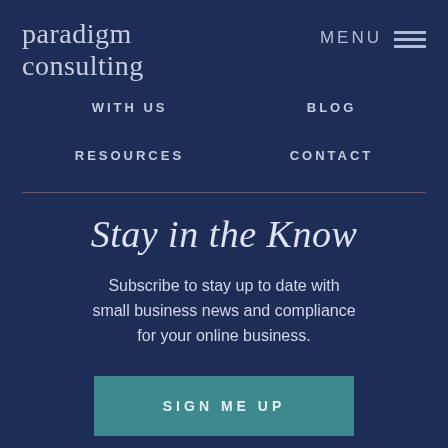paradigm consulting
MENU
WITH US
BLOG
RESOURCES
CONTACT
Stay in the Know
Subscribe to stay up to date with small business news and compliance for your online business.
SIGN ME UP